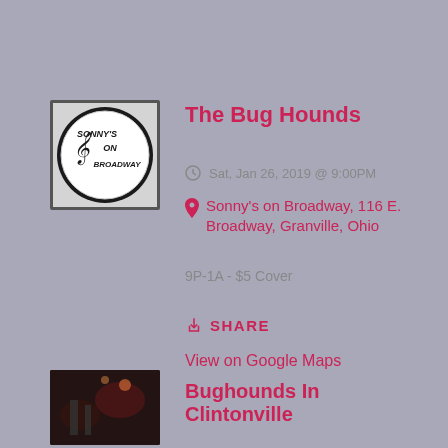[Figure (photo): Sonny's on Broadway circular logo button — white circle with text 'Sonny's on Broadway' and a treble clef musical note, black square border]
The Bug Hounds
Sat, Jan 26, 2019 @ 9:00PM
Sonny's on Broadway, 116 E. Broadway, Granville, Ohio
9P-1A - $5 Cover
SHARE
View on Google Maps
[Figure (photo): Dark photo of Bughounds band performing in a bar/club setting with dim lighting]
Bughounds In Clintonville